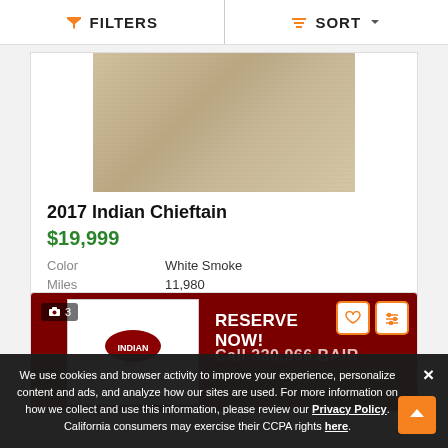FILTERS   SORT
[Figure (photo): Partial view of a White Smoke colored Indian Chieftain motorcycle]
2017 Indian Chieftain
$19,999
Color   White Smoke
Miles   11,980
[Figure (photo): Second motorcycle listing card showing Bair's dealership logo on dark red background with RESERVE NOW! and Call 330.966.BAIR text]
We use cookies and browser activity to improve your experience, personalize content and ads, and analyze how our sites are used. For more information on how we collect and use this information, please review our Privacy Policy. California consumers may exercise their CCPA rights here.